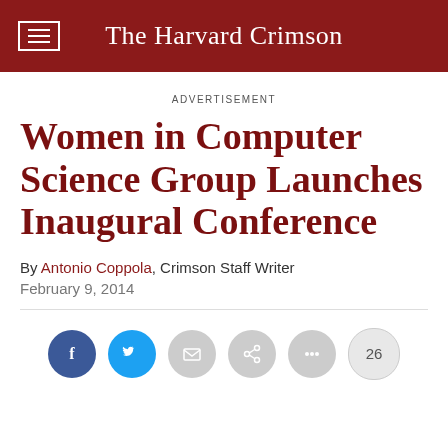The Harvard Crimson
ADVERTISEMENT
Women in Computer Science Group Launches Inaugural Conference
By Antonio Coppola, Crimson Staff Writer
February 9, 2014
[Figure (infographic): Social sharing buttons row: Facebook (dark blue), Twitter (light blue), Email (grey), Share (grey), More (grey), and a count badge showing 26]